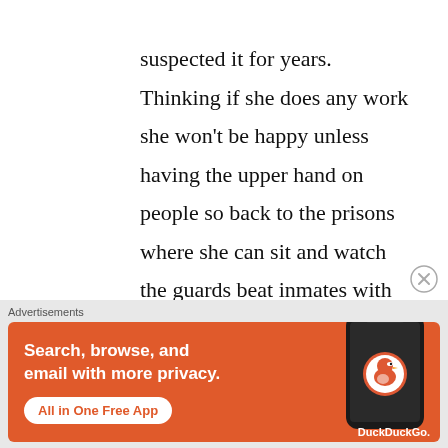suspected it for years. Thinking if she does any work she won't be happy unless having the upper hand on people so back to the prisons where she can sit and watch the guards beat inmates with handcuffs on and laugh about it again. When all bloody up she can blame them, and give them 'the look" . like told ya so .
[Figure (infographic): DuckDuckGo advertisement banner with orange background. Text reads: 'Search, browse, and email with more privacy. All in One Free App' with a phone mockup showing the DuckDuckGo app icon and DuckDuckGo logo.]